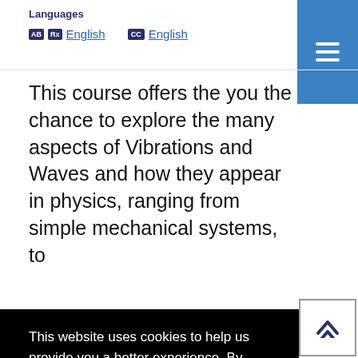Languages
AB English    CC English
This course offers the you the chance to explore the many aspects of Vibrations and Waves and how they appear in physics, ranging from simple mechanical systems, to
This website uses cookies to help us provide you a better experience. By clicking any link on this page you are giving your consent for us to set cookies. Learn more
Got it!
Mechanical Systems, Quantum,